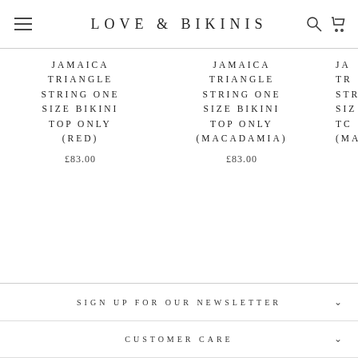LOVE & BIKINIS
JAMAICA TRIANGLE STRING ONE SIZE BIKINI TOP ONLY (RED) £83.00
JAMAICA TRIANGLE STRING ONE SIZE BIKINI TOP ONLY (MACADAMIA) £83.00
JA TR STR SIZ TC (MA...
SIGN UP FOR OUR NEWSLETTER
CUSTOMER CARE
ABOUT US